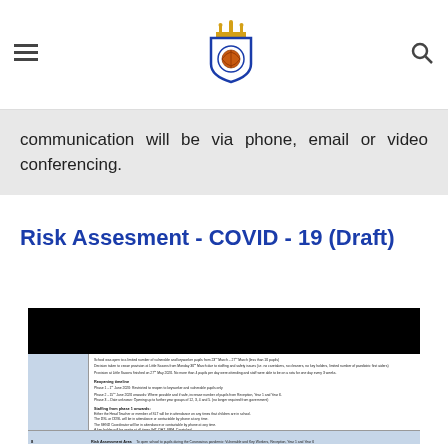Navigation bar with hamburger menu, school crest logo, and search icon
communication will be via phone, email or video conferencing.
Risk Assesment - COVID - 19 (Draft)
[Figure (screenshot): Thumbnail of a risk assessment document table with columns including Risk Assessment Area. Content describes school opening phases, staffing arrangements, and COVID-19 safety measures. Black header bar at top of thumbnail.]